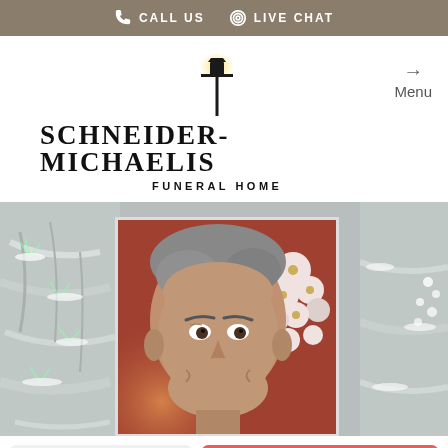CALL US  LIVE CHAT
[Figure (logo): Schneider-Michaelis Funeral Home logo with lamppost icon and glowing lantern]
Menu
[Figure (photo): Portrait photo of an older man with gray hair, in front of white flowers and a warm background, inset in a winter/snow scene]
Share A Memory
Send Flowers